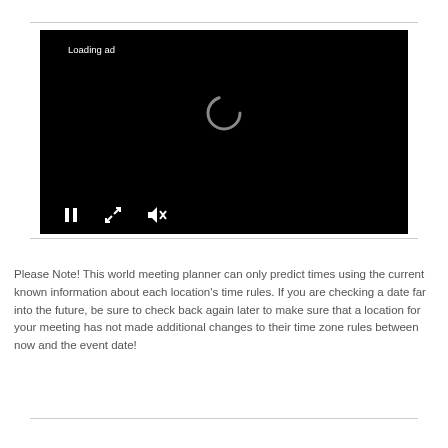[Figure (screenshot): Video player with black background showing 'Loading ad' text in top-left, a circular spinner in the center, and playback controls (pause, fullscreen, mute) at the bottom-left.]
Please Note! This world meeting planner can only predict times using the current known information about each location's time rules. If you are checking a date far into the future, be sure to check back again later to make sure that a location for your meeting has not made additional changes to their time zone rules between now and the event date!